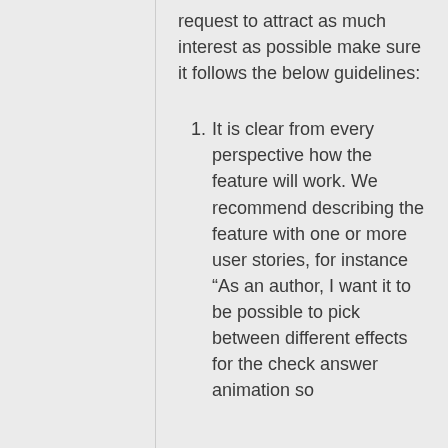request to attract as much interest as possible make sure it follows the below guidelines:
It is clear from every perspective how the feature will work. We recommend describing the feature with one or more user stories, for instance “As an author, I want it to be possible to pick between different effects for the check answer animation so